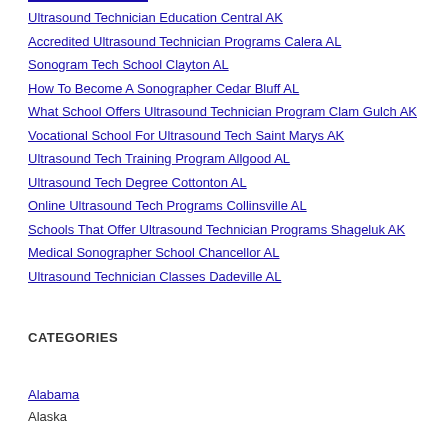Ultrasound Technician Education Central AK
Accredited Ultrasound Technician Programs Calera AL
Sonogram Tech School Clayton AL
How To Become A Sonographer Cedar Bluff AL
What School Offers Ultrasound Technician Program Clam Gulch AK
Vocational School For Ultrasound Tech Saint Marys AK
Ultrasound Tech Training Program Allgood AL
Ultrasound Tech Degree Cottonton AL
Online Ultrasound Tech Programs Collinsville AL
Schools That Offer Ultrasound Technician Programs Shageluk AK
Medical Sonographer School Chancellor AL
Ultrasound Technician Classes Dadeville AL
CATEGORIES
Alabama
Alaska